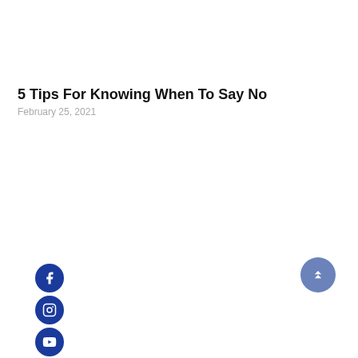5 Tips For Knowing When To Say No
February 25, 2021
[Figure (infographic): Vertical column of 8 circular social media icon buttons in dark blue: Facebook, Instagram, YouTube, Pinterest, TikTok, LinkedIn, Bloglovin, Podcast. Plus a light blue scroll-to-top button in the bottom right.]